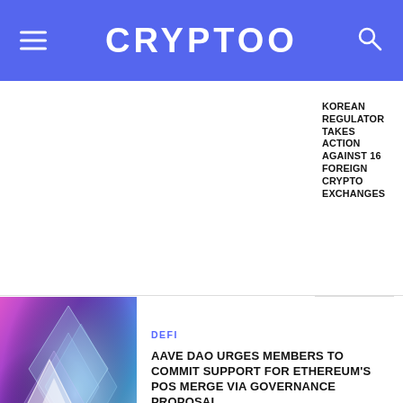CRYPTOO
KOREAN REGULATOR TAKES ACTION AGAINST 16 FOREIGN CRYPTO EXCHANGES
[Figure (photo): Abstract crystal/diamond shapes with purple, blue and pink neon lighting on dark background]
DEFI
AAVE DAO URGES MEMBERS TO COMMIT SUPPORT FOR ETHEREUM'S POS MERGE VIA GOVERNANCE PROPOSAL
BITCOIN
TOP 10 POW DOMINANCE EVAPORATES 9 YEARS LATER, ONLY TWO PROOF-OF-WORK COINS WILL REMAIN AFTER THE MERGE